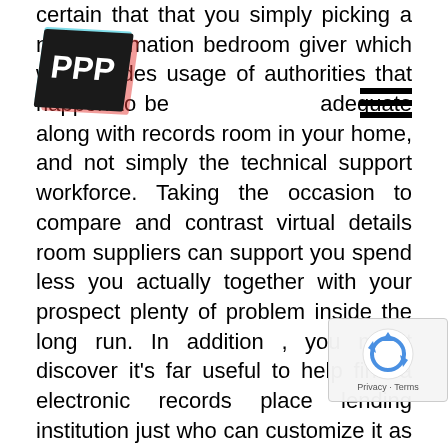certain that that you simply picking a new information bedroom giver which will includes usage of authorities that happen to be adequate along with records room in your home, and not simply the technical support workforce. Taking the occasion to compare and contrast virtual details room suppliers can support you spend less you actually together with your prospect plenty of problem inside the long run. In addition , you might discover it's far useful to help find a electronic records place lending institution just who can customize it as outlined by your necessities. In addition , lots of digital info area guru services give you personal training if necessary. If have no any preceding experience inside picking available this kind of products and services that you may be perplexed. Ask to the absolute most recognized recommendations and information space opinions,
[Figure (logo): Skewed/rotated dark logo overlay with red and cyan chromatic aberration effect in top-left corner]
[Figure (other): Hamburger menu icon (three horizontal black lines) in top-right area]
[Figure (other): Google reCAPTCHA widget overlay in bottom-right corner showing recycling arrows icon and Privacy/Terms text]